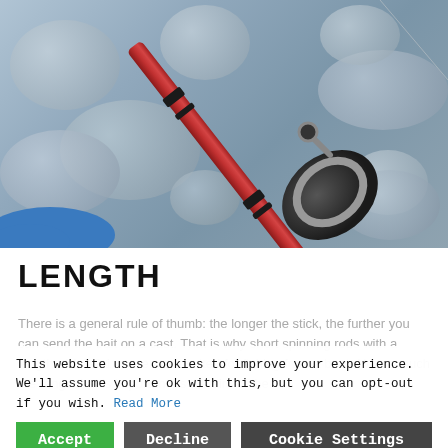[Figure (photo): Close-up photo of a red fishing rod with a spinning reel attached, resting on pebbles/rocks, with a blue-gloved hand visible at the bottom left.]
LENGTH
There is a general rule of thumb: the longer the stick, the further you can send the bait on a cast. That is why short spinning rods with a length of 1.8-2.1 m are more suited for fishing from a boat. Not so much the range that is important as the aim of the
This website uses cookies to improve your experience. We'll assume you're ok with this, but you can opt-out if you wish. Read More
Accept
Decline
Cookie Settings